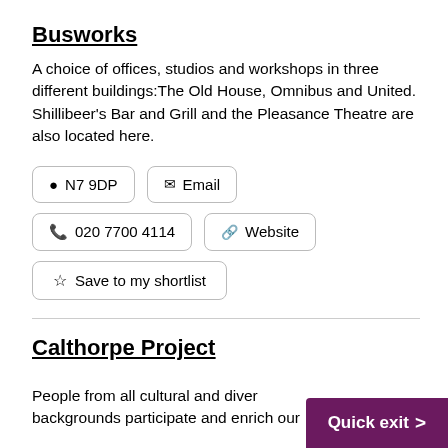Busworks
A choice of offices, studios and workshops in three different buildings:The Old House, Omnibus and United. Shillibeer's Bar and Grill and the Pleasance Theatre are also located here.
N7 9DP
Email
020 7700 4114
Website
Save to my shortlist
Calthorpe Project
People from all cultural and diverse backgrounds participate and enrich our